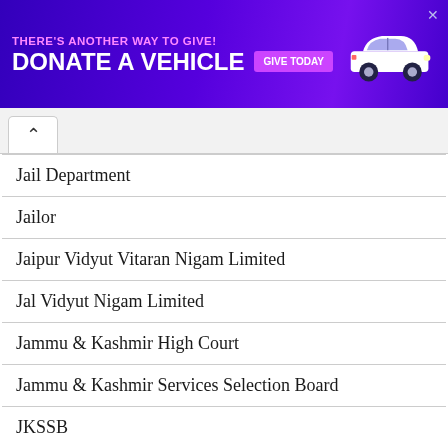[Figure (other): Purple advertisement banner: 'THERE'S ANOTHER WAY TO GIVE! DONATE A VEHICLE' with a pink 'GIVE TODAY' button and a white car illustration on the right, with a close X button.]
Jail Department
Jailor
Jaipur Vidyut Vitaran Nigam Limited
Jal Vidyut Nigam Limited
Jammu & Kashmir High Court
Jammu & Kashmir Services Selection Board
JKSSB
JSSC
judge
Junior Officers
Karnataka State Human Rights Commission
Karnataka State Polic…